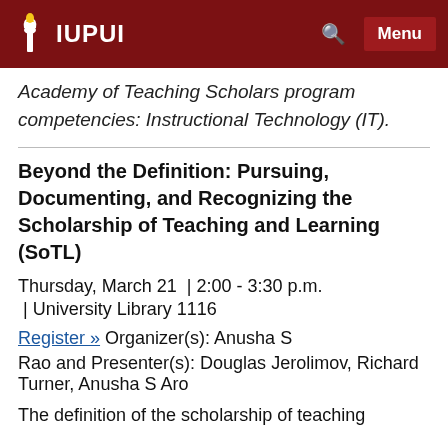IUPUI
Academy of Teaching Scholars program competencies: Instructional Technology (IT).
Beyond the Definition: Pursuing, Documenting, and Recognizing the Scholarship of Teaching and Learning (SoTL)
Thursday, March 21  | 2:00 - 3:30 p.m.
| University Library 1116
Register » Organizer(s): Anusha S Rao and Presenter(s): Douglas Jerolimov, Richard Turner, Anusha S Aro
The definition of the scholarship of teaching